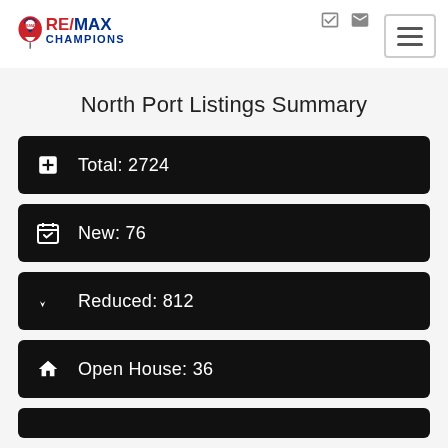RE/MAX Champions
North Port Listings Summary
Total: 2724
New: 76
Reduced: 812
Open House: 36